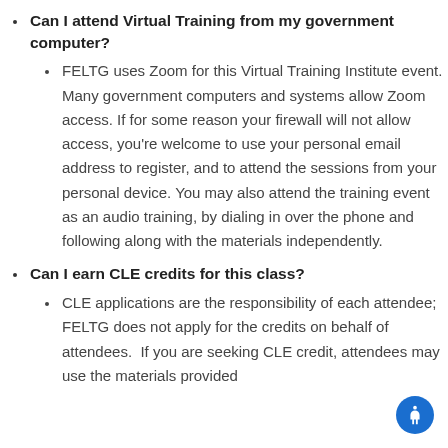Can I attend Virtual Training from my government computer?
FELTG uses Zoom for this Virtual Training Institute event. Many government computers and systems allow Zoom access. If for some reason your firewall will not allow access, you're welcome to use your personal email address to register, and to attend the sessions from your personal device. You may also attend the training event as an audio training, by dialing in over the phone and following along with the materials independently.
Can I earn CLE credits for this class?
CLE applications are the responsibility of each attendee; FELTG does not apply for the credits on behalf of attendees.  If you are seeking CLE credit, attendees may use the materials provided